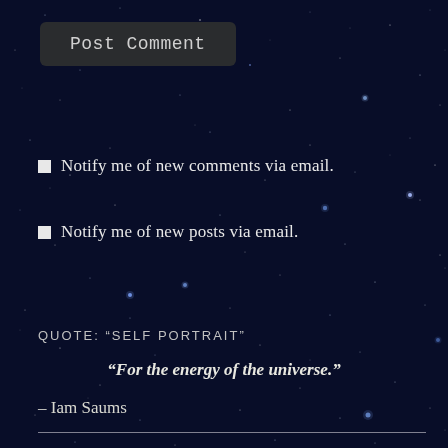[Figure (illustration): Dark navy/dark blue starfield background with scattered white and blue-tinted stars of varying brightness across the entire page]
Post Comment
Notify me of new comments via email.
Notify me of new posts via email.
QUOTE: “SELF PORTRAIT”
“For the energy of the universe.”
– Iam Saums
ARTICLE ARCHIVE: